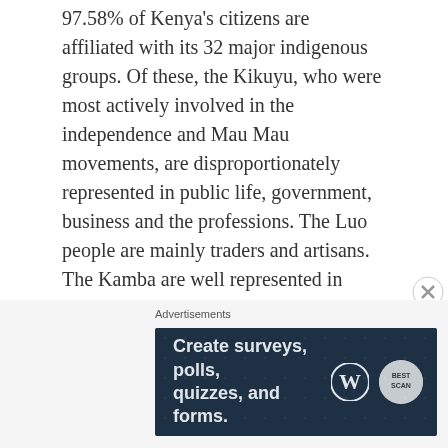97.58% of Kenya's citizens are affiliated with its 32 major indigenous groups. Of these, the Kikuyu, who were most actively involved in the independence and Mau Mau movements, are disproportionately represented in public life, government, business and the professions. The Luo people are mainly traders and artisans. The Kamba are well represented in defense and law enforcement. The Kalenjin are mainly farmers. While a recognized asset, Kenya's ethnic diversity has also led to disputes. Interethnic rivalries and resentment over Kikuyu dominance in politics and commerce have hindered national integration.
[Figure (other): Advertisement banner: 'Create surveys, polls, quizzes, and forms.' with WordPress logo and a circular badge, on a dark navy dotted background.]